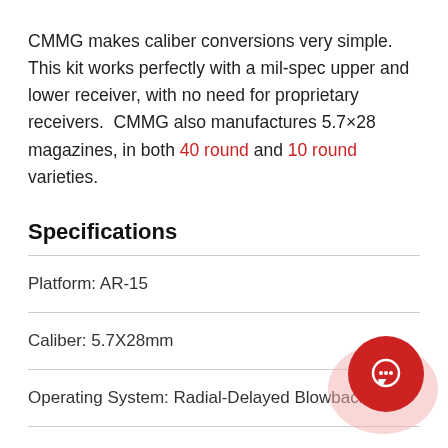CMMG makes caliber conversions very simple.  This kit works perfectly with a mil-spec upper and lower receiver, with no need for proprietary receivers.  CMMG also manufactures 5.7×28 magazines, in both 40 round and 10 round varieties.
Specifications
Platform: AR-15
Caliber: 5.7X28mm
Operating System: Radial-Delayed Blowback
Barrel Length: 16.1 Inches